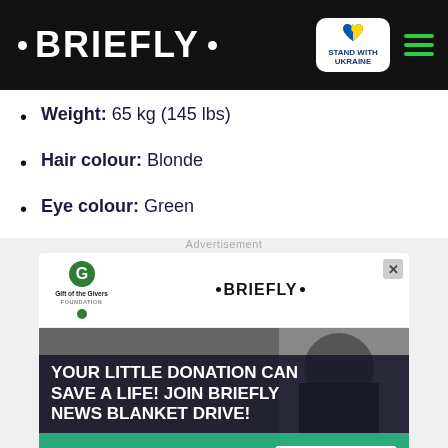• BRIEFLY •  STAND WITH UKRAINE  ☰
Weight: 65 kg (145 lbs)
Hair colour: Blonde
Eye colour: Green
[Figure (infographic): Advertisement banner for Briefly News Blanket Drive in partnership with Gift of the Givers Foundation. Contains top bar with logos, background image of a person in a hoodie with bold text 'YOUR LITTLE DONATION CAN SAVE A LIFE! JOIN BRIEFLY NEWS BLANKET DRIVE!', a green bottom strip with 'the gift of warmth th...' and a DONATE NOW button, plus a bottom sticky banner repeating the message.]